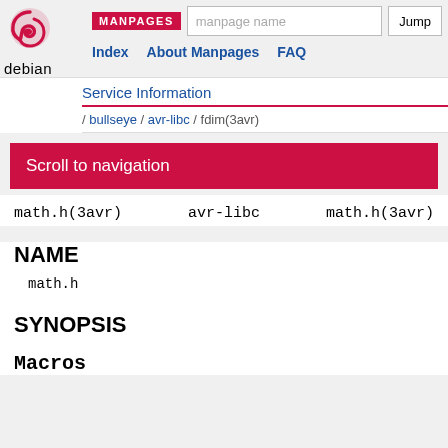MANPAGES  Index  About Manpages  FAQ
Service Information
/ bullseye / avr-libc / fdim(3avr)
Scroll to navigation
math.h(3avr)    avr-libc    math.h(3avr)
NAME
math.h
SYNOPSIS
Macros